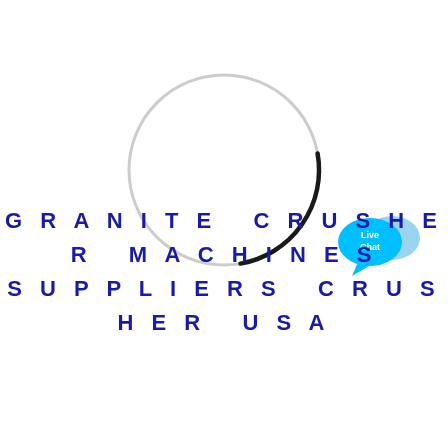[Figure (other): Loading spinner circle: a large thin circle outline in light gray with a short black arc segment at the top-right, resembling a page-loading indicator.]
[Figure (illustration): Live Chat icon: two overlapping speech bubble shapes in cyan/light blue, with the text 'Live Chat' in white inside the foreground bubble.]
GRANITE CRUSHER MACHINES SUPPLIERS CRUSHER USA